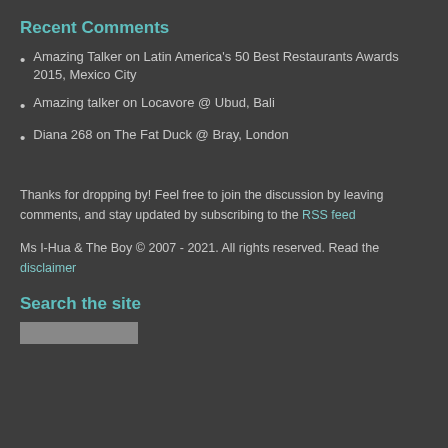Recent Comments
Amazing Talker on Latin America's 50 Best Restaurants Awards 2015, Mexico City
Amazing talker on Locavore @ Ubud, Bali
Diana 268 on The Fat Duck @ Bray, London
Thanks for dropping by! Feel free to join the discussion by leaving comments, and stay updated by subscribing to the RSS feed
Ms I-Hua & The Boy © 2007 - 2021. All rights reserved. Read the disclaimer
Search the site